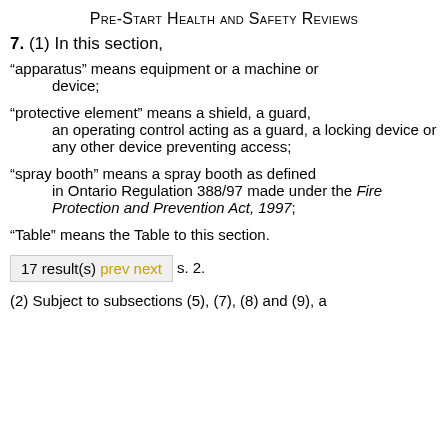Pre-Start Health and Safety Reviews
7. (1) In this section,
“apparatus” means equipment or a machine or device;
“protective element” means a shield, a guard, an operating control acting as a guard, a locking device or any other device preventing access;
“spray booth” means a spray booth as defined in Ontario Regulation 388/97 made under the Fire Protection and Prevention Act, 1997;
“Table” means the Table to this section.
17 result(s) prev next s. 2.
(2) Subject to subsections (5), (7), (8) and (9), a